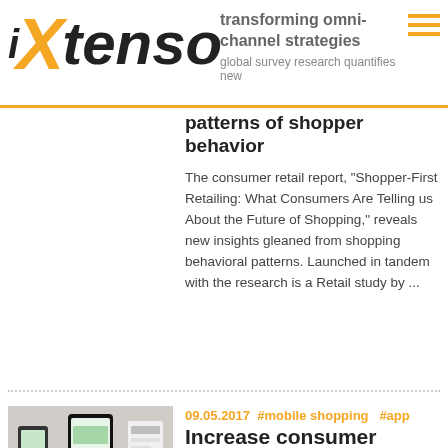iXtenso – transforming omni-channel strategies – global survey research quantifies new patterns of shopper behavior
patterns of shopper behavior
The consumer retail report, "Shopper-First Retailing: What Consumers Are Telling us About the Future of Shopping," reveals new insights gleaned from shopping behavioral patterns. Launched in tandem with the research is a Retail study by ...
09.05.2017  #mobile shopping    #app
Increase consumer loyalty through mobile self-scanning
Scansation helps retailers create personalized offers for anonymous consumers
Good chances for brick-and-mortar retailers to create personalized offers for their anonymous consumers. Since May 2017 a mobile self-scanning system named "Scansation" is available. Special highlight: retailers only need